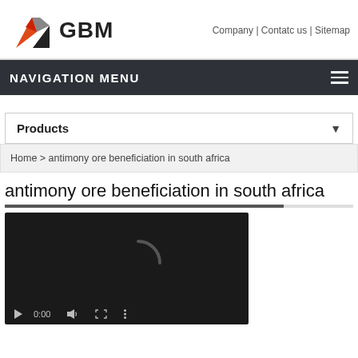GBM | Company | Contatc us | Sitemap
NAVIGATION MENU
Products
Home > antimony ore beneficiation in south africa
antimony ore beneficiation in south africa
[Figure (screenshot): Video player in dark/loading state showing a loading spinner and controls at bottom (play button, 0:00 timestamp, audio icon, fullscreen icon, more options icon)]